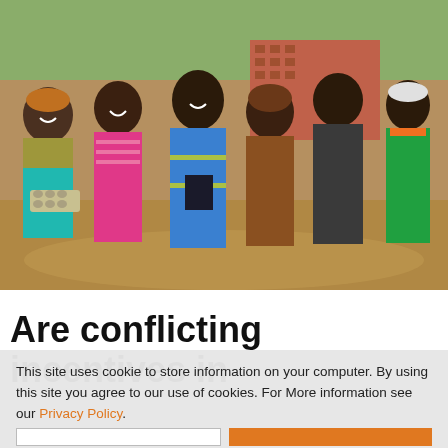[Figure (photo): Group of six smiling African adults standing together outdoors in front of a brick building with trees in the background. The woman on the left holds an egg carton, and the man in the center holds a book. They are dressed in colorful clothing.]
Are conflicting incentives in
This site uses cookie to store information on your computer. By using this site you agree to our use of cookies. For More information see our Privacy Policy.